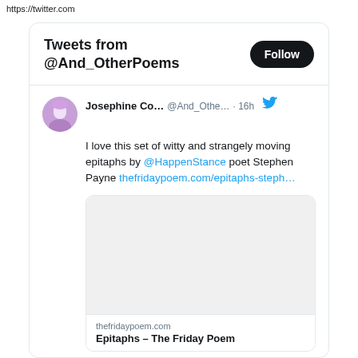https://twitter.com
Tweets from @And_OtherPoems
Follow
Josephine Co... @And_Othe... · 16h
I love this set of witty and strangely moving epitaphs by @HappenStance poet Stephen Payne thefridaypoem.com/epitaphs-steph…
[Figure (screenshot): Embedded tweet card image placeholder (grey rectangle)]
thefridaypoem.com
Epitaphs – The Friday Poem